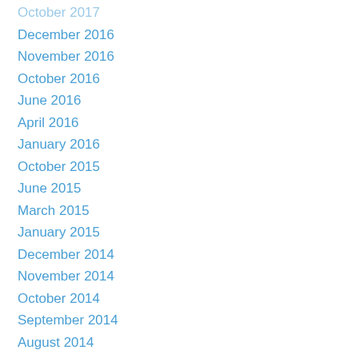October 2017
December 2016
November 2016
October 2016
June 2016
April 2016
January 2016
October 2015
June 2015
March 2015
January 2015
December 2014
November 2014
October 2014
September 2014
August 2014
July 2014
June 2014
May 2014
March 2014
February 2014